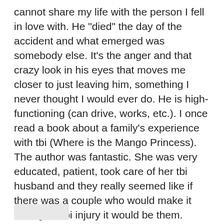cannot share my life with the person I fell in love with. He "died" the day of the accident and what emerged was somebody else. It's the anger and that crazy look in his eyes that moves me closer to just leaving him, something I never thought I would ever do. He is high-functioning (can drive, works, etc.). I once read a book about a family's experience with tbi (Where is the Mango Princess). The author was fantastic. She was very educated, patient, took care of her tbi husband and they really seemed like if there was a couple who would make it through a tbi injury it would be them. Sadly, 5 years after the accident that caused the husband to have a tbi they got divorced. Is this where I am headed? It makes me cry. This is not how I saw my life going. I hate tbi. No good came out of it. Why did this have to happen? Tbi came and destroyed our lives and for no good purpose or reason.